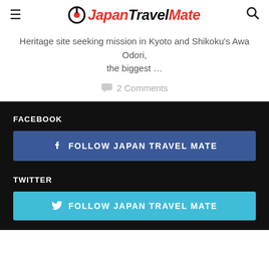Japan Travel Mate
Heritage site seeking mission in Kyoto and Shikoku's Awa Odori, the biggest …
2 Comments
FACEBOOK
FOLLOW JAPAN TRAVEL MATE
TWITTER
FOLLOW JAPAN TRAVEL MATE